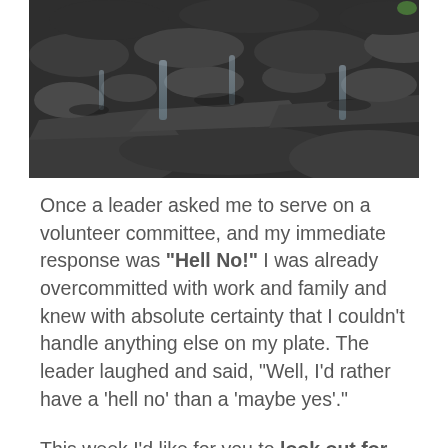[Figure (photo): Photograph of dark wet rocks and stones with water flowing between them, taken from above.]
Once a leader asked me to serve on a volunteer committee, and my immediate response was “Hell No!” I was already overcommitted with work and family and knew with absolute certainty that I couldn’t handle anything else on my plate. The leader laughed and said, “Well, I’d rather have a ‘hell no’ than a ‘maybe yes’.”
This week I’d like for you to look out for parts of your life where you are a ‘maybe yes.’ These may be obligations that grew out of scope-creep in your job; a volunteer position you said yes to out of guilt; a project that you thought would be